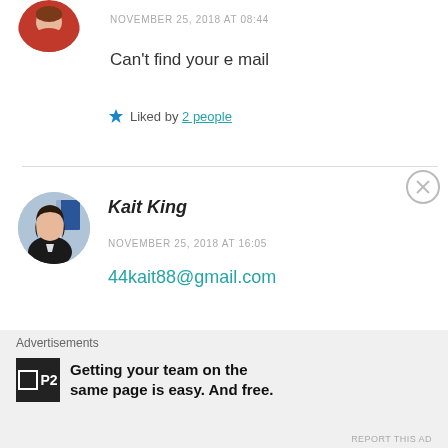[Figure (photo): Circular avatar of first commenter, partial crop at top of page]
NOVEMBER 25, 2018 AT 08:44
Can't find your e mail
★ Liked by 2 people
[Figure (photo): Circular avatar photo of Kait King, woman with dark hair in black jacket]
Kait King
NOVEMBER 25, 2018 AT 16:05
44kait88@gmail.com
Advertisements
[Figure (logo): P2 logo — black square with smaller white square and P2 text]
Getting your team on the same page is easy. And free.
REPORT THIS AD